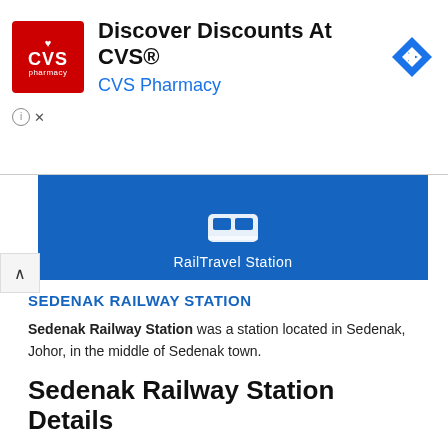[Figure (screenshot): CVS Pharmacy advertisement banner with red CVS logo, text 'Discover Discounts At CVS®' and 'CVS Pharmacy' in blue, and a blue diamond navigation arrow icon on the right.]
[Figure (screenshot): RailTravel Station website header — blue background with white train icon and text 'RailTravel Station', partially visible with collapse arrow button.]
SEDENAK RAILWAY STATION
Sedenak Railway Station was a station located in Sedenak, Johor, in the middle of Sedenak town.
Sedenak Railway Station Details
Address: Kampung Baru Sedenak, 81000 Kulai, Johor, Malaysia